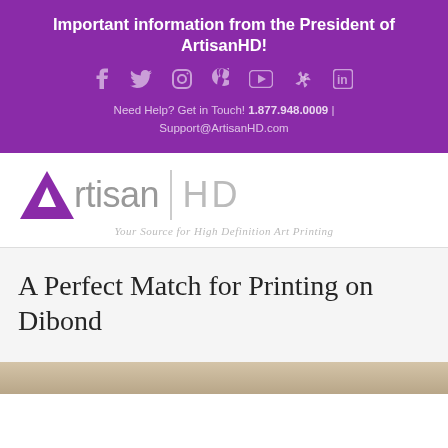Important information from the President of ArtisanHD!
[Figure (logo): ArtisanHD logo with purple triangle A, 'rtisan' in grey, vertical divider, 'HD' in light grey, tagline: Your Source for High Definition Art Printing]
A Perfect Match for Printing on Dibond
[Figure (photo): Partial photo at bottom of page, appears to show artwork or a print on Dibond]